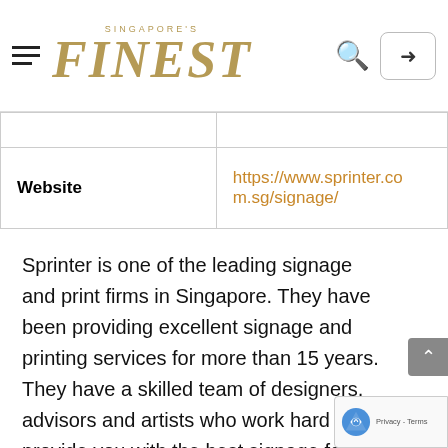Singapore's Finest
|  |  |
| Website | https://www.sprinter.com.sg/signage/ |
Sprinter is one of the leading signage and print firms in Singapore. They have been providing excellent signage and printing services for more than 15 years. They have a skilled team of designers, advisors and artists who work hard to provide you with the best signage for your business. Sprinter believes in catering to signage needs of all businesses despite their scale of operation and budget. That is why they offer flexible signage packages for their clients. Yo...